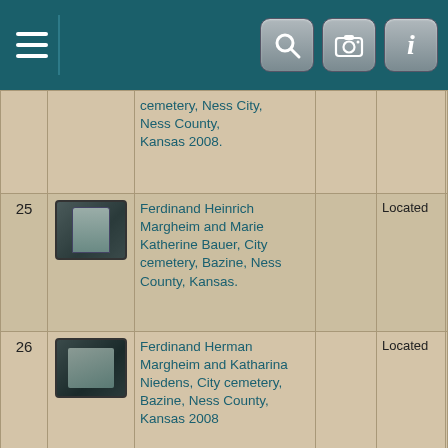[Figure (screenshot): Mobile app toolbar with hamburger menu on left, teal/dark background, and three icon buttons (search, camera, info) on right]
| # | Photo | Description |  | Status | Related |
| --- | --- | --- | --- | --- | --- |
|  |  | cemetery, Ness City, Ness County, Kansas 2008. |  |  | Kathanna (d. 06 May 1947) |
| 25 | [photo] | Ferdinand Heinrich Margheim and Marie Katherine Bauer, City cemetery, Bazine, Ness County, Kansas. |  | Located | Margheim Ferdinand Heinrich (d. 17 Apr 1953) |
| 26 | [photo] | Ferdinand Herman Margheim and Katharina Niedens, City cemetery, Bazine, Ness County, Kansas 2008 |  | Located | Margheim Ferdinand Herman (d. 26 Apr 1969) |
| 27 | [photo] | Francis Frank Moore 1854-1907. City Cemetery #6, East Commerce Street & South New Braunfels Street, San Antonio, Bexar County, Texas. |  | Located | Moore Francis Frank (d. 30 Jul 1907) |
| 28 | [photo] | Fred Harding, |  | Located | Harding |